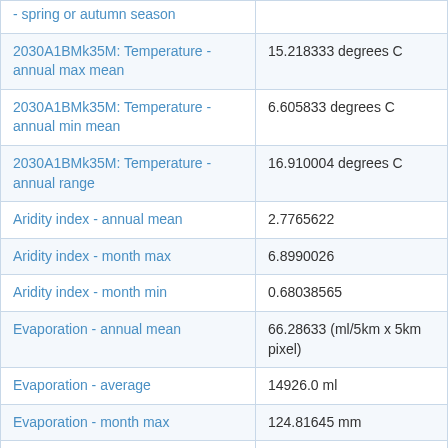| Parameter | Value |
| --- | --- |
| - spring or autumn season |  |
| 2030A1BMk35M: Temperature - annual max mean | 15.218333 degrees C |
| 2030A1BMk35M: Temperature - annual min mean | 6.605833 degrees C |
| 2030A1BMk35M: Temperature - annual range | 16.910004 degrees C |
| Aridity index - annual mean | 2.7765622 |
| Aridity index - month max | 6.8990026 |
| Aridity index - month min | 0.68038565 |
| Evaporation - annual mean | 66.28633 (ml/5km x 5km pixel) |
| Evaporation - average | 14926.0 ml |
| Evaporation - month max | 124.81645 mm |
| Evaporation - month min | 18.658587 mm |
| Evaporation - variability | 5.0 % |
| Growth index C3 macrotherm | 0.01 index |